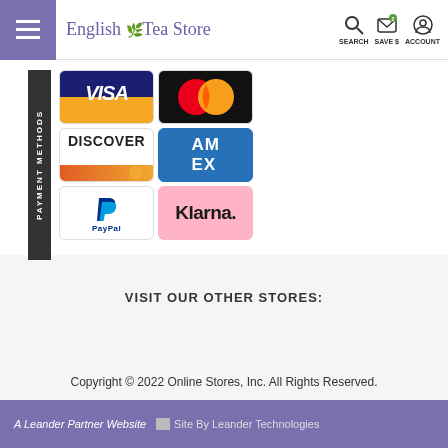English Tea Store — SEARCH, SAVE $, ACCOUNT
[Figure (infographic): Payment methods section showing vertical 'PAYMENT METHODS' label alongside a 3x2 grid of payment logos: Visa, Mastercard (top row, partially cropped), Discover, American Express (middle row), PayPal, Klarna (bottom row)]
VISIT OUR OTHER STORES:
Copyright © 2022 Online Stores, Inc. All Rights Reserved.
A Leander Partner Website   Site By Leander Technologies